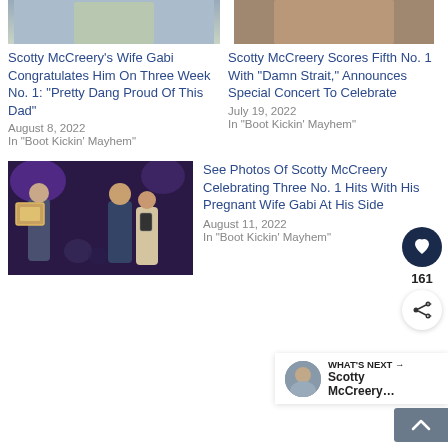[Figure (photo): Top left thumbnail photo of a person]
Scotty McCreery's Wife Gabi Congratulates Him On Three Week No. 1: "Pretty Dang Proud Of This Dad"
August 8, 2022
In "Boot Kickin' Mayhem"
[Figure (photo): Top right thumbnail photo of a person in plaid shirt]
Scotty McCreery Scores Fifth No. 1 With "Damn Strait," Announces Special Concert To Celebrate
July 19, 2022
In "Boot Kickin' Mayhem"
[Figure (photo): Photo of Scotty McCreery and his pregnant wife Gabi at a celebration event, holding a record award]
See Photos Of Scotty McCreery Celebrating Three No. 1 Hits With His Pregnant Wife Gabi At His Side
August 11, 2022
In "Boot Kickin' Mayhem"